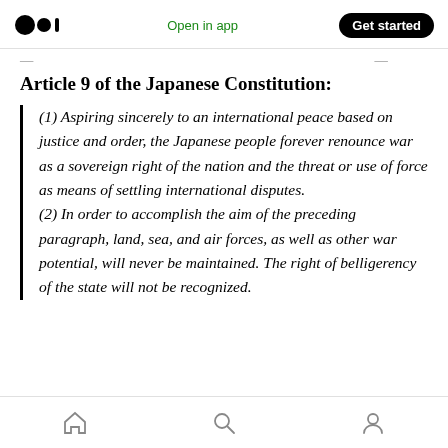Open in app | Get started
Article 9 of the Japanese Constitution:
(1) Aspiring sincerely to an international peace based on justice and order, the Japanese people forever renounce war as a sovereign right of the nation and the threat or use of force as means of settling international disputes. (2) In order to accomplish the aim of the preceding paragraph, land, sea, and air forces, as well as other war potential, will never be maintained. The right of belligerency of the state will not be recognized.
Home | Search | Profile